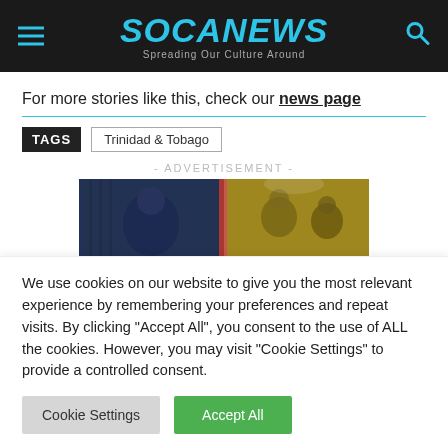SOCANEWS — Spreading Our Culture Around
For more stories like this, check our news page
TAGS  Trinidad & Tobago
- ADVERTISEMENT -
[Figure (photo): Advertisement banner showing two panels: left panel with a person in blue-toned scene, right panel with two people talking in a warm yellow-toned office scene]
We use cookies on our website to give you the most relevant experience by remembering your preferences and repeat visits. By clicking "Accept All", you consent to the use of ALL the cookies. However, you may visit "Cookie Settings" to provide a controlled consent.